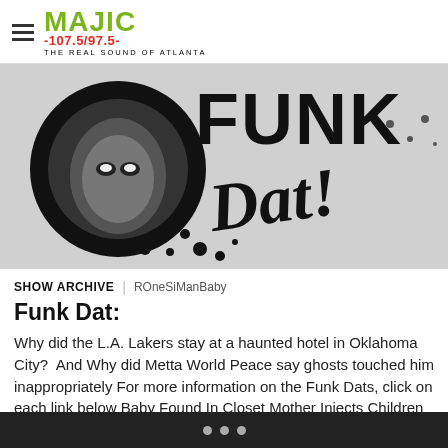MAJIC -107.5/97.5- THE REAL SOUND OF ATLANTA
[Figure (illustration): Funk Dat! logo featuring a stylized black-and-white graphic of a woman's face with an afro on the left, and large bold graffiti-style lettering spelling 'FUNK Dat!' on the right with splatter effects.]
SHOW ARCHIVE | ROneSiManBaby
Funk Dat:
Why did the L.A. Lakers stay at a haunted hotel in Oklahoma City?  And Why did Metta World Peace say ghosts touched him inappropriately For more information on the Funk Dats, click on each link below Baby Found In Closet Mother Injects Children With Sleep Juice Chinese Woman Sells Phones Buys House Metta